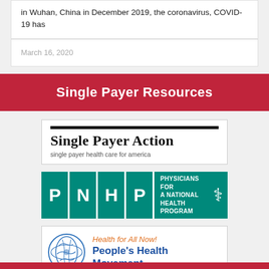in Wuhan, China in December 2019, the coronavirus, COVID-19 has
March 16, 2020
Single Payer Resources
[Figure (logo): Single Payer Action logo with tagline 'single payer health care for america']
[Figure (logo): PNHP - Physicians for a National Health Program logo on teal background]
[Figure (logo): People's Health Movement logo with globe illustration, tagline 'Health for All Now!']